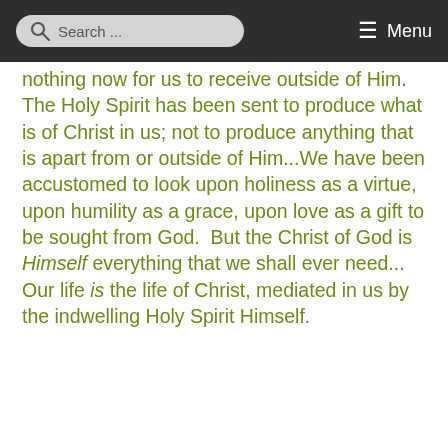Search ... Menu
nothing now for us to receive outside of Him.  The Holy Spirit has been sent to produce what is of Christ in us; not to produce anything that is apart from or outside of Him...We have been accustomed to look upon holiness as a virtue, upon humility as a grace, upon love as a gift to be sought from God.  But the Christ of God is Himself everything that we shall ever need... Our life is the life of Christ, mediated in us by the indwelling Holy Spirit Himself.